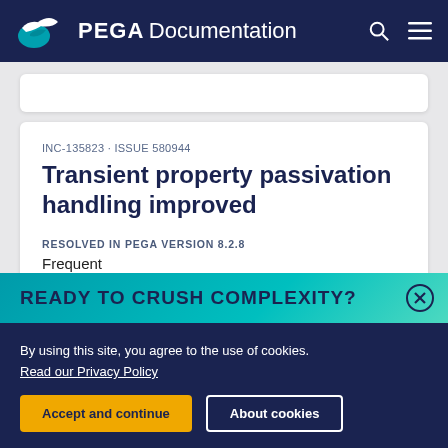PEGA Documentation
INC-135823 · ISSUE 580944
Transient property passivation handling improved
RESOLVED IN PEGA VERSION 8.2.8
Frequent
READY TO CRUSH COMPLEXITY?
By using this site, you agree to the use of cookies. Read our Privacy Policy
Accept and continue
About cookies